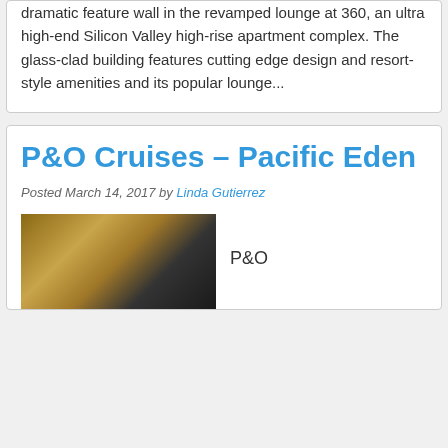dramatic feature wall in the revamped lounge at 360, an ultra high-end Silicon Valley high-rise apartment complex. The glass-clad building features cutting edge design and resort-style amenities and its popular lounge...
P&O Cruises – Pacific Eden
Posted March 14, 2017 by Linda Gutierrez
[Figure (photo): Interior photo showing a woven wall panel in warm wood tones alongside dark curtains, with 'P&O' text visible]